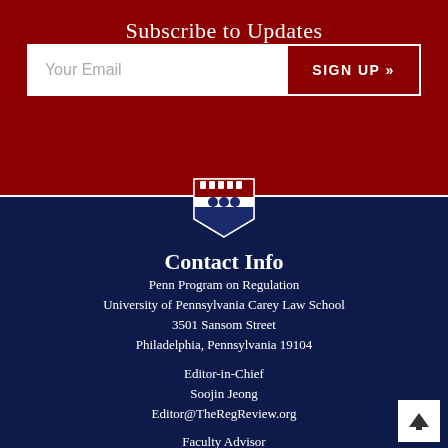Subscribe to Updates
Your Email
SIGN UP »
[Figure (logo): University of Pennsylvania shield/crest logo in blue and white]
Contact Info
Penn Program on Regulation
University of Pennsylvania Carey Law School
3501 Sansom Street
Philadelphia, Pennsylvania 19104
Editor-in-Chief
Soojin Jeong
Editor@TheRegReview.org
Faculty Advisor
Cary Coglianese
+1 215.898.6867